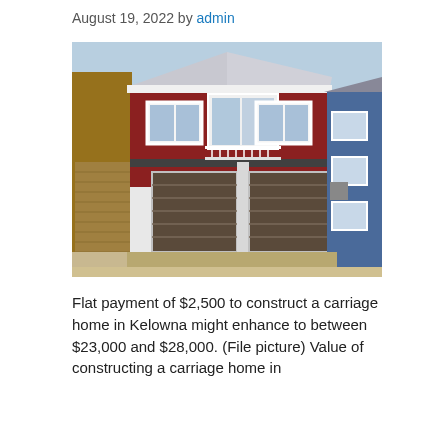August 19, 2022 by admin
[Figure (photo): Exterior photo of a two-storey carriage home with red siding, white trim, two brown garage doors on the lower level, and a balcony on the upper level. Blue house visible to the right, brown structure to the left. Under construction setting.]
Flat payment of $2,500 to construct a carriage home in Kelowna might enhance to between $23,000 and $28,000. (File picture) Value of constructing a carriage home in